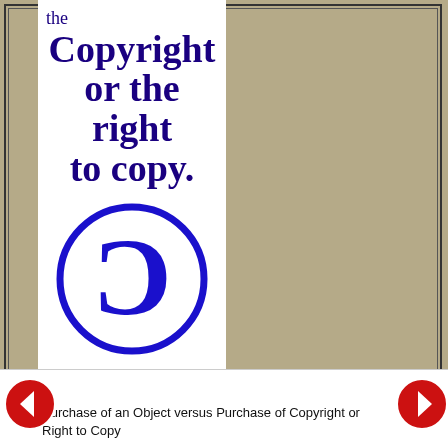the Copyright or the right to copy.
[Figure (illustration): Blue circle with a reversed letter C inside, resembling a copyleft or copyright symbol variant]
Purchase of an Object versus Purchase of Copyright or Right to Copy